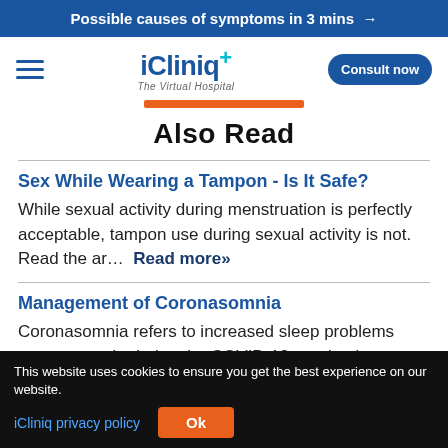Possible causes of symptoms in 3 mins →
[Figure (logo): iCliniq+ The Virtual Hospital logo with hamburger menu and Consult now button]
Also Read
Sex While Wearing a Tampon - Is It Safe?
While sexual activity during menstruation is perfectly acceptable, tampon use during sexual activity is not. Read the ar... Read more»
Management of Coronasomnia
Coronasomnia refers to increased sleep problems among people during the COVID-19 pandemic.
This website uses cookies to ensure you get the best experience on our website. iCliniq privacy policy Ok